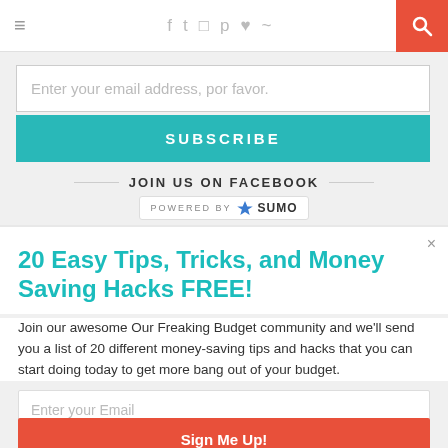≡  f  𝕥  📷  𝗽  ♥  RSS  🔍
Enter your email address, por favor.
SUBSCRIBE
JOIN US ON FACEBOOK
[Figure (logo): POWERED BY SUMO badge with crown logo]
20 Easy Tips, Tricks, and Money Saving Hacks FREE!
Join our awesome Our Freaking Budget community and we'll send you a list of 20 different money-saving tips and hacks that you can start doing today to get more bang out of your budget.
Enter your Email
Sign Me Up!